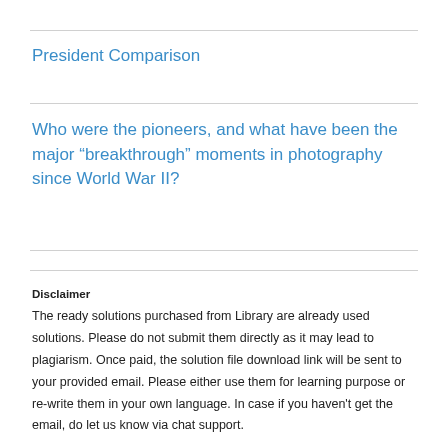President Comparison
Who were the pioneers, and what have been the major “breakthrough” moments in photography since World War II?
Disclaimer
The ready solutions purchased from Library are already used solutions. Please do not submit them directly as it may lead to plagiarism. Once paid, the solution file download link will be sent to your provided email. Please either use them for learning purpose or re-write them in your own language. In case if you haven’t get the email, do let us know via chat support.